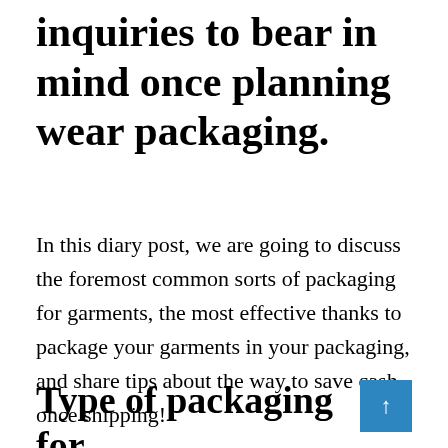inquiries to bear in mind once planning wear packaging.
In this diary post, we are going to discuss the foremost common sorts of packaging for garments, the most effective thanks to package your garments in your packaging, and share tips about the way to save cash once shipping!
Type of packaging for garments